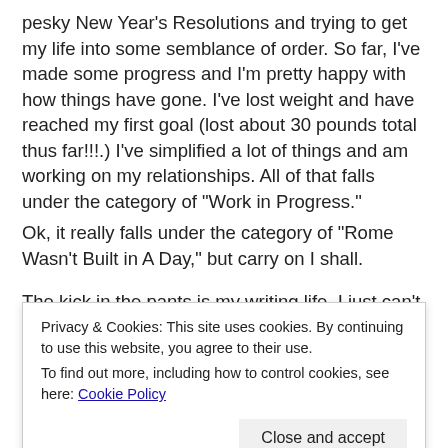pesky New Year’s Resolutions and trying to get my life into some semblance of order. So far, I’ve made some progress and I’m pretty happy with how things have gone. I’ve lost weight and have reached my first goal (lost about 30 pounds total thus far!!!.) I’ve simplified a lot of things and am working on my relationships. All of that falls under the category of “Work in Progress.”
Ok, it really falls under the category of “Rome Wasn’t Built in A Day,” but carry on I shall.
The kick in the pants is my writing life. I just can’t seem to get a grip on that. I’m not sure what direction I want to take and I probably should keep up with the blog just so I can keep
Privacy & Cookies: This site uses cookies. By continuing to use this website, you agree to their use.
To find out more, including how to control cookies, see here: Cookie Policy
Close and accept
I wonder if Shakespeare, Twain, etc went through this kind of